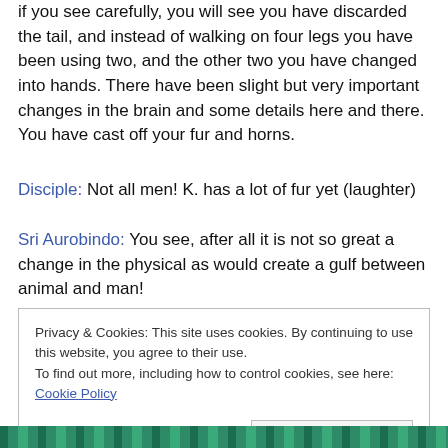if you see carefully, you will see you have discarded the tail, and instead of walking on four legs you have been using two, and the other two you have changed into hands. There have been slight but very important changes in the brain and some details here and there. You have cast off your fur and horns.
Disciple: Not all men! K. has a lot of fur yet (laughter)
Sri Aurobindo: You see, after all it is not so great a change in the physical as would create a gulf between animal and man!
Privacy & Cookies: This site uses cookies. By continuing to use this website, you agree to their use. To find out more, including how to control cookies, see here: Cookie Policy
Close and accept